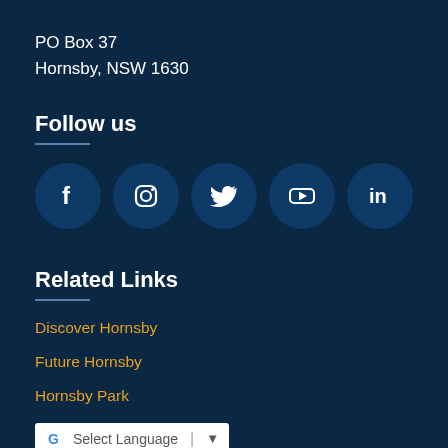PO Box 37
Hornsby, NSW 1630
Follow us
[Figure (infographic): Row of 5 social media icons in dark blue circles: Facebook (f), Instagram (camera), Twitter (bird), YouTube (play button), LinkedIn (in)]
Related Links
Discover Hornsby
Future Hornsby
Hornsby Park
[Figure (other): Google Translate widget button with G logo, 'Select Language' text, divider, and dropdown arrow]